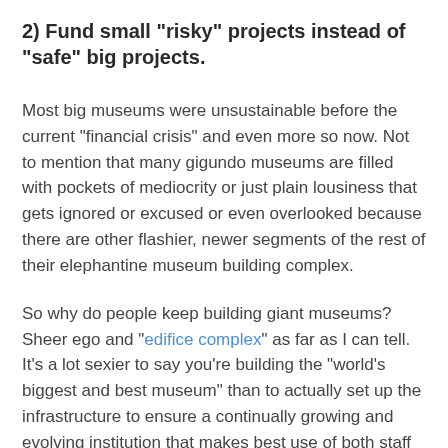2) Fund small "risky" projects instead of "safe" big projects.
Most big museums were unsustainable before the current "financial crisis" and even more so now. Not to mention that many gigundo museums are filled with pockets of mediocrity or just plain lousiness that gets ignored or excused or even overlooked because there are other flashier, newer segments of the rest of their elephantine museum building complex.
So why do people keep building giant museums? Sheer ego and "edifice complex" as far as I can tell. It's a lot sexier to say you're building the "world's biggest and best museum" than to actually set up the infrastructure to ensure a continually growing and evolving institution that makes best use of both staff and community resources.
If you really want to see Museum 2.0/3.0/whatever happen, then museum workers and museum organizations should advocate for more, but smaller, museums spread throughout...